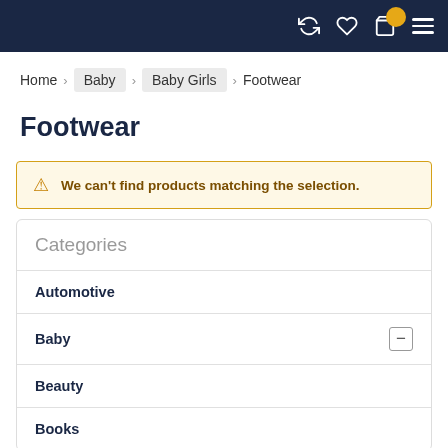Navigation bar with icons
Home > Baby > Baby Girls > Footwear
Footwear
We can't find products matching the selection.
Categories
Automotive
Baby
Beauty
Books